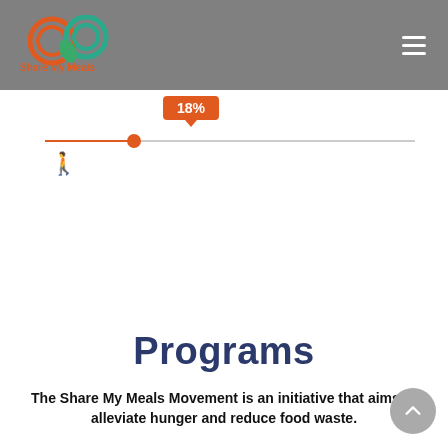Share My Meals
[Figure (logo): Share My Meals logo with interlocking orange and teal circular rings and a leaf, with text 'Share My Meals' below in orange]
[Figure (infographic): Slider UI element showing a percentage value (18%) with an orange tooltip above and orange slider track]
Of the children live in food insecurity in New Jersey
Programs
The Share My Meals Movement is an initiative that aims to alleviate hunger and reduce food waste.